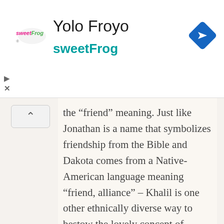[Figure (screenshot): Mobile app screenshot showing an advertisement banner for 'Yolo Froyo sweetFrog' with a sweetFrog logo, a blue navigation/directions diamond icon, play and close buttons, and a collapse chevron button on the left side.]
the "friend" meaning. Just like Jonathan is a name that symbolizes friendship from the Bible and Dakota comes from a Native-American language meaning “friend, alliance” – Khalil is one other ethnically diverse way to bestow the lovely concept of “friend” onto your son.